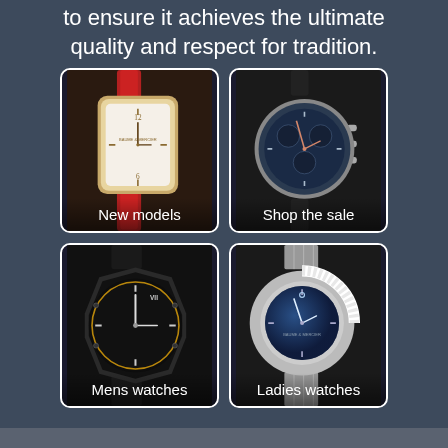to ensure it achieves the ultimate quality and respect for tradition.
[Figure (photo): Rectangular dress watch with red leather strap, rose gold case, white dial. Label: New models]
[Figure (photo): Round chronograph watch with blue dial and black leather strap. Label: Shop the sale]
[Figure (photo): Round sports watch with black textured dial and dark rubber/metal bracelet. Label: Mens watches]
[Figure (photo): Round watch with blue dial, diamond bezel, steel bracelet. Label: Ladies watches]